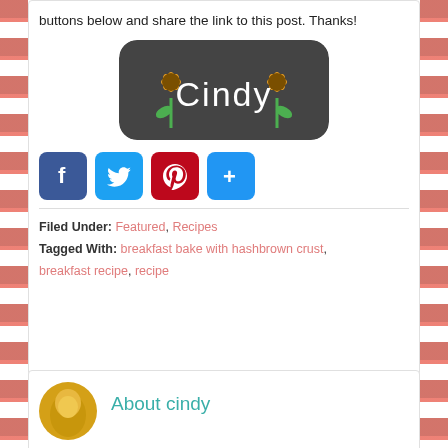buttons below and share the link to this post. Thanks!
[Figure (illustration): Dark rounded rectangle with two sunflowers and handwritten-style 'Cindy' text in white, serving as a blog signature graphic.]
[Figure (infographic): Social sharing buttons row: Facebook (blue), Twitter (light blue), Pinterest (red), and a share/more button (blue).]
Filed Under: Featured, Recipes
Tagged With: breakfast bake with hashbrown crust, breakfast recipe, recipe
[Figure (photo): Circular avatar photo of Cindy with golden/blonde hair tones.]
About cindy